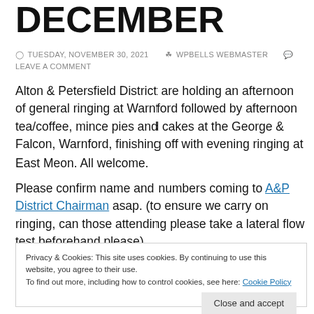DECEMBER
TUESDAY, NOVEMBER 30, 2021  WPBELLS WEBMASTER  LEAVE A COMMENT
Alton & Petersfield District are holding an afternoon of general ringing at Warnford followed by afternoon tea/coffee, mince pies and cakes at the George & Falcon, Warnford, finishing off with evening ringing at East Meon. All welcome.
Please confirm name and numbers coming to A&P District Chairman asap. (to ensure we carry on ringing, can those attending please take a lateral flow test beforehand please)
Privacy & Cookies: This site uses cookies. By continuing to use this website, you agree to their use.
To find out more, including how to control cookies, see here: Cookie Policy